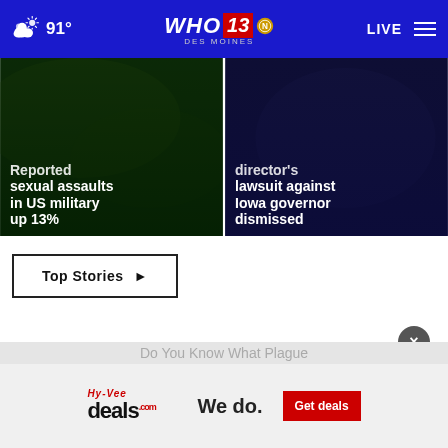91° WHO 13 DES MOINES NBC LIVE
[Figure (screenshot): News card left: Reported sexual assaults in US military up 13%]
[Figure (screenshot): News card right: director's lawsuit against Iowa governor dismissed]
Top Stories ▶
[Figure (screenshot): HyVee deals advertisement: We do. Get deals]
Do You Know What Plague